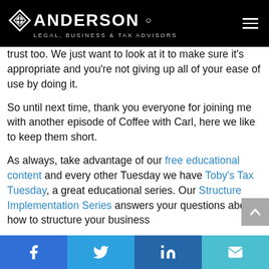ANDERSON LEGAL, BUSINESS & TAX ADVISORS
trust too. We just want to look at it to make sure it's appropriate and you're not giving up all of your ease of use by doing it.
So until next time, thank you everyone for joining me with another episode of Coffee with Carl, here we like to keep them short.
As always, take advantage of our free educational content and every other Tuesday we have Toby's Tax Tuesday, a great educational series. Our Structure Implementation Series answers your questions about how to structure your business
Facebook Twitter LinkedIn Email social share buttons